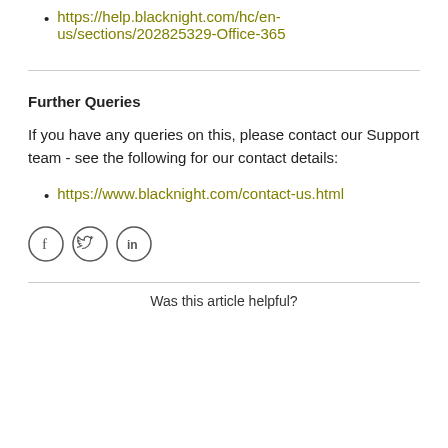https://help.blacknight.com/hc/en-us/sections/202825329-Office-365
Further Queries
If you have any queries on this, please contact our Support team - see the following for our contact details:
https://www.blacknight.com/contact-us.html
[Figure (other): Social media icons: Facebook, Twitter, LinkedIn]
Was this article helpful?